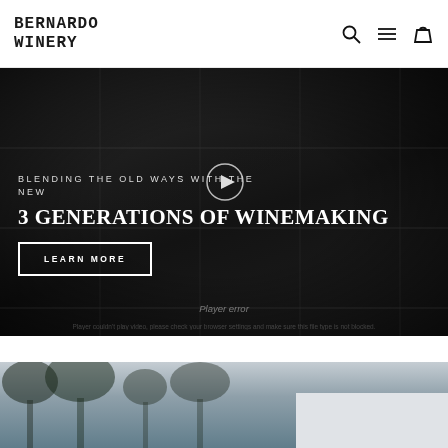BERNARDO WINERY
[Figure (screenshot): Hero video section with dark background showing winery interior. Text overlay reads 'BLENDING THE OLD WAYS WITH THE NEW' and '3 GENERATIONS OF WINEMAKING' with a LEARN MORE button and a play button icon. Shows 'Player error' message at bottom.]
[Figure (photo): Bottom strip showing outdoor photo of trees/vineyard with light grey sky, partially visible.]